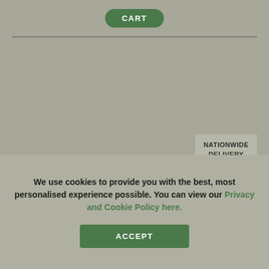CART
[Figure (photo): Product image area — grey/taupe background showing a product area for a Stewart Terrace Trough Tray, image not visible]
NATIONWIDE DELIVERY
PLASTIC POTS
STEWART TERRACE TROUGH TRAY 60CM BLACK
£3.69 1812
We use cookies to provide you with the best, most personalised experience possible. You can view our Privacy and Cookie Policy here.
ACCEPT